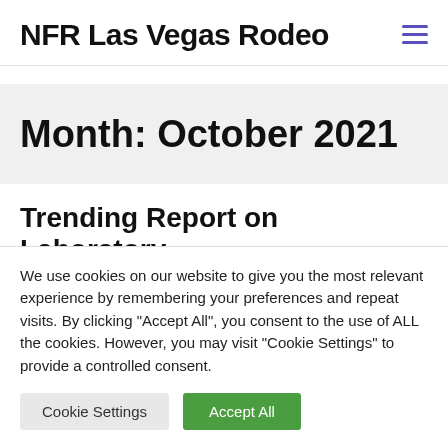NFR Las Vegas Rodeo
Month: October 2021
Trending Report on Laboratory
We use cookies on our website to give you the most relevant experience by remembering your preferences and repeat visits. By clicking "Accept All", you consent to the use of ALL the cookies. However, you may visit "Cookie Settings" to provide a controlled consent.